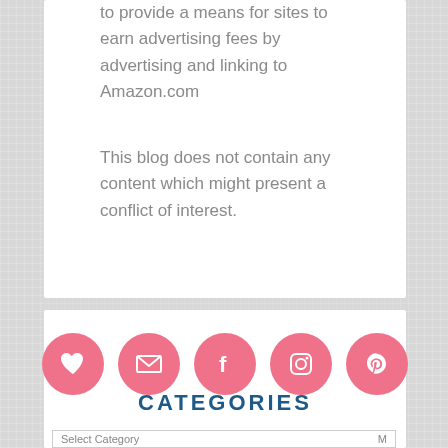to provide a means for sites to earn advertising fees by advertising and linking to Amazon.com
This blog does not contain any content which might present a conflict of interest.
[Figure (infographic): Row of five pink circular social media icons: heart (Bloglovin), envelope (email), Facebook, Instagram, Pinterest]
CATEGORIES